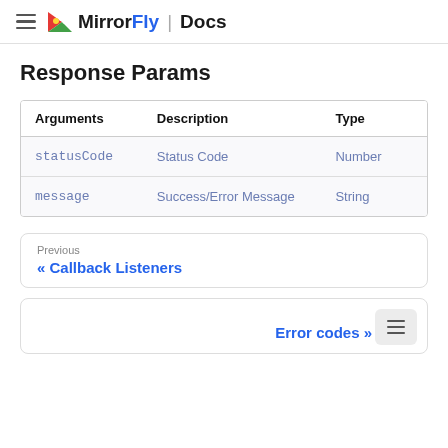MirrorFly | Docs
Response Params
| Arguments | Description | Type |
| --- | --- | --- |
| statusCode | Status Code | Number |
| message | Success/Error Message | String |
Previous
« Callback Listeners
Error codes »